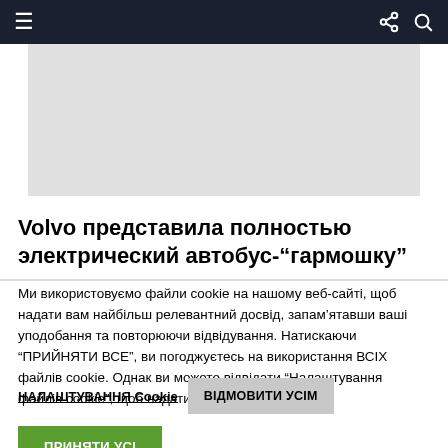☰  ≪ 🔍
[Figure (other): Gray image placeholder area]
Volvo представила полностью электрический автобус-"гармошку"
Ми використовуємо файли cookie на нашому веб-сайті, щоб надати вам найбільш релевантний досвід, запам'ятавши ваші уподобання та повторюючи відвідування. Натискаючи "ПРИЙНЯТИ ВСЕ", ви погоджуєтесь на використання ВСІХ файлів cookie. Однак ви можете відвідати "Налаштування файлів cookie", щоб надати контрольовану згоду.
НАЛАШТУВАННЯ Cookie  ВІДМОВИТИ УСІМ  ПРИНЯТИ УСІ